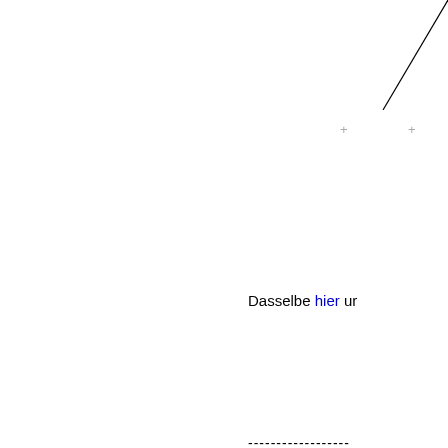[Figure (other): Diagonal line in top-right corner of the page]
Dasselbe hier un
------------------
Science can't see w
Profil  Quote
Beitrag No.1164, ein
haribo
Senior
Dabei seit: 25.10.2012
Mitteilungen: 3772
diesen 108er mü
[Figure (screenshot): Gray area with pink/magenta geometric shapes (3D rendering or diagram)]